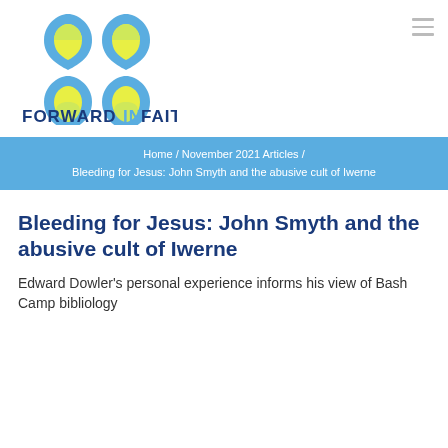[Figure (logo): Forward in Faith logo: four shield/leaf shapes arranged in a cross pattern with yellow-green centers and blue outer edges, with FORWARDINFAITH text below in dark blue bold sans-serif]
Home / November 2021 Articles / Bleeding for Jesus: John Smyth and the abusive cult of Iwerne
Bleeding for Jesus: John Smyth and the abusive cult of Iwerne
Edward Dowler's personal experience informs his view of Bash Camp bibliology